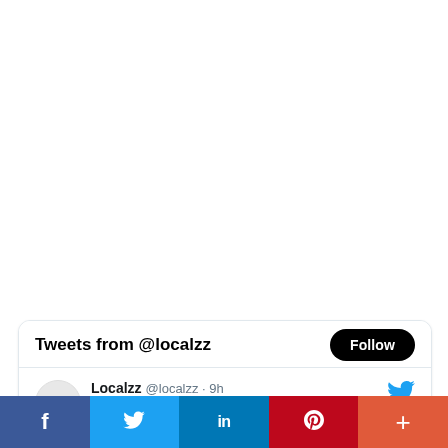[Figure (screenshot): White empty space occupying the upper portion of the page]
Tweets from @localzz
Follow
Localzz @localzz · 9h
[Figure (screenshot): Social sharing bar at bottom with Facebook, Twitter, LinkedIn, Pinterest, and More buttons]